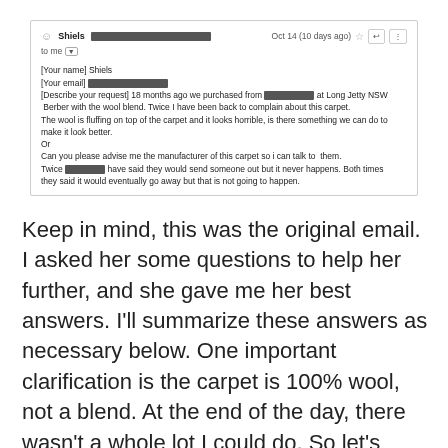[Figure (screenshot): Screenshot of an email from Shiels dated Oct 14 (10 days ago). The email is addressed 'to me'. Body reads: [Your name] Shiels, [Your email] [redacted], [Describe your request] 18 months ago we purchased from [redacted] at Long Jetty NSW Berber with the wool blend. Twice I have been back to complain about this carpet. The wool is fluffing on top of the carpet and it looks horrible, is there something we can do to make it look better. Or Can you please advise me the manufacturer of this carpet so i can talk to them. Twice [redacted] have said they would send someone out but it never happens. Both times they said it would eventually go away but that is not going to happen.]
Keep in mind, this was the original email. I asked her some questions to help her further, and she gave me her best answers. I'll summarize these answers as necessary below. One important clarification is the carpet is 100% wool, not a blend. At the end of the day, there wasn't a whole lot I could do. So let's check out what happened and what went wrong: